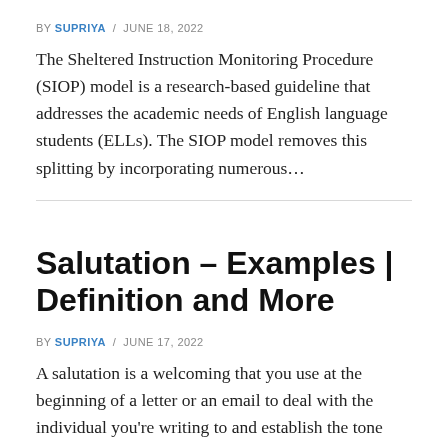BY SUPRIYA / JUNE 18, 2022
The Sheltered Instruction Monitoring Procedure (SIOP) model is a research-based guideline that addresses the academic needs of English language students (ELLs). The SIOP model removes this splitting by incorporating numerous…
Salutation – Examples | Definition and More
BY SUPRIYA / JUNE 17, 2022
A salutation is a welcoming that you use at the beginning of a letter or an email to deal with the individual you're writing to and establish the tone of…